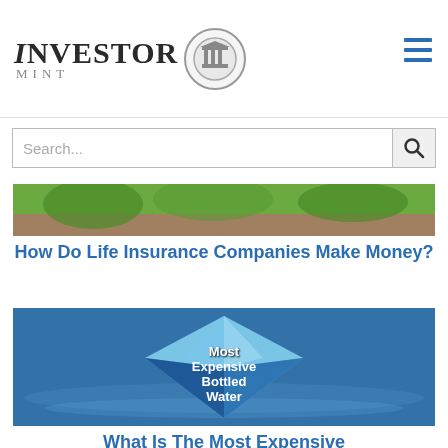Investor Mint
[Figure (screenshot): Search bar with search icon on right]
[Figure (photo): Top portion of article image showing outdoor scene with greenery]
How Do Life Insurance Companies Make Money?
[Figure (photo): Diamond shape overlaid on water background with text 'Most Expensive Bottled Water']
What Is The Most Expensive